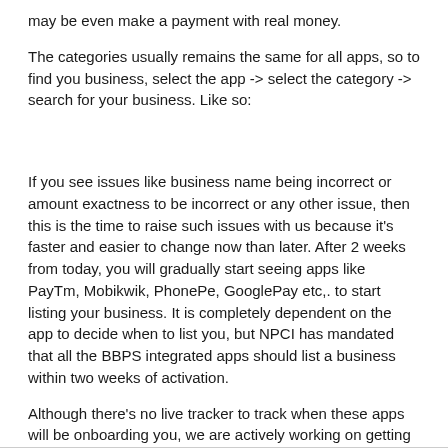may be even make a payment with real money.
The categories usually remains the same for all apps, so to find you business, select the app -> select the category -> search for your business. Like so:
If you see issues like business name being incorrect or amount exactness to be incorrect or any other issue, then this is the time to raise such issues with us because it's faster and easier to change now than later. After 2 weeks from today, you will gradually start seeing apps like PayTm, Mobikwik, PhonePe, GooglePay etc,. to start listing your business. It is completely dependent on the app to decide when to list you, but NPCI has mandated that all the BBPS integrated apps should list a business within two weeks of activation.
Although there's no live tracker to track when these apps will be onboarding you, we are actively working on getting this information to you.